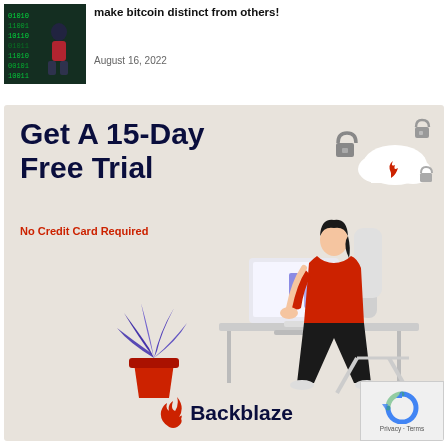[Figure (photo): Small thumbnail image of a person in a dark digital/tech setting]
make bitcoin distinct from others!
August 16, 2022
[Figure (illustration): Backblaze advertisement banner: 'Get A 15-Day Free Trial. No Credit Card Required.' with illustration of a person working at a computer, cloud storage icons with flame logo, padlock icons, a potted plant, and the Backblaze logo at the bottom. A reCAPTCHA privacy badge appears in the bottom-right corner.]